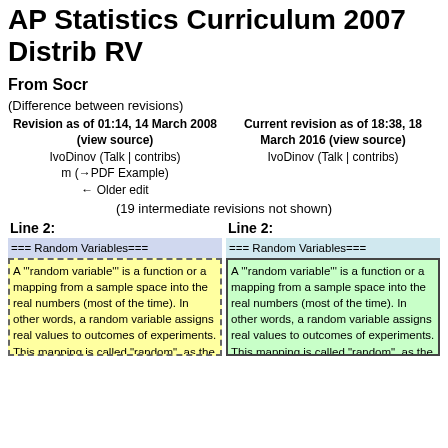AP Statistics Curriculum 2007 Distrib RV
From Socr
(Difference between revisions)
| Revision as of 01:14, 14 March 2008 (view source) | Current revision as of 18:38, 18 March 2016 (view source) |
| --- | --- |
| IvoDinov (Talk | contribs) | IvoDinov (Talk | contribs) |
| m (→PDF Example) |  |
| ← Older edit |  |
(19 intermediate revisions not shown)
| Line 2: | Line 2: |
| --- | --- |
| === Random Variables=== | === Random Variables=== |
| A """random variable""" is a function or a mapping from a sample space into the real numbers (most of the time). In other words, a random variable assigns real values to outcomes of experiments. This mapping is called "random", as the | A """random variable""" is a function or a mapping from a sample space into the real numbers (most of the time). In other words, a random variable assigns real values to outcomes of experiments. This mapping is called "random", as the |